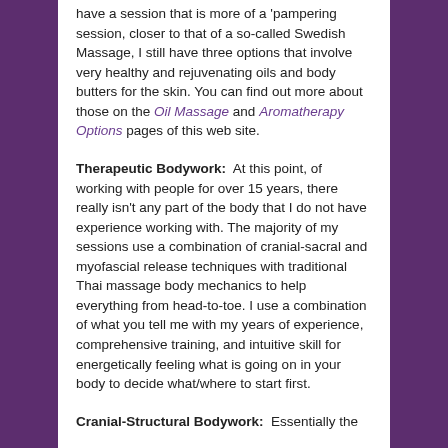have a session that is more of a 'pampering session, closer to that of a so-called Swedish Massage, I still have three options that involve very healthy and rejuvenating oils and body butters for the skin. You can find out more about those on the Oil Massage and Aromatherapy Options pages of this web site.
Therapeutic Bodywork: At this point, of working with people for over 15 years, there really isn't any part of the body that I do not have experience working with. The majority of my sessions use a combination of cranial-sacral and myofascial release techniques with traditional Thai massage body mechanics to help everything from head-to-toe. I use a combination of what you tell me with my years of experience, comprehensive training, and intuitive skill for energetically feeling what is going on in your body to decide what/where to start first.
Cranial-Structural Bodywork: Essentially the